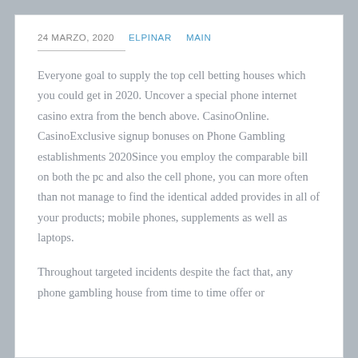24 MARZO, 2020   ELPINAR   MAIN
Everyone goal to supply the top cell betting houses which you could get in 2020. Uncover a special phone internet casino extra from the bench above. CasinoOnline. CasinoExclusive signup bonuses on Phone Gambling establishments 2020Since you employ the comparable bill on both the pc and also the cell phone, you can more often than not manage to find the identical added provides in all of your products; mobile phones, supplements as well as laptops.
Throughout targeted incidents despite the fact that, any phone gambling house from time to time offer or